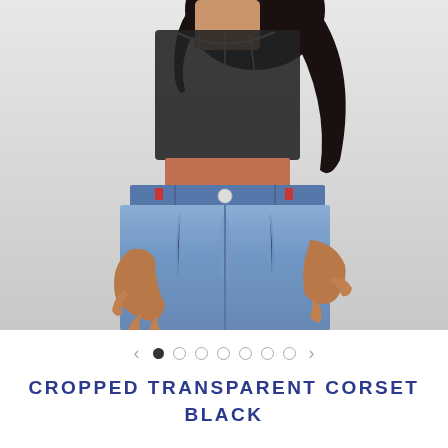[Figure (photo): Fashion product photo showing a female model from neck to lower thigh wearing a black sheer cropped corset top and light blue high-waisted wide-leg jeans. The model's hands are on the waistband of the jeans. Background is light grey/white.]
< • ○ ○ ○ ○ ○ ○ >
CROPPED TRANSPARENT CORSET BLACK